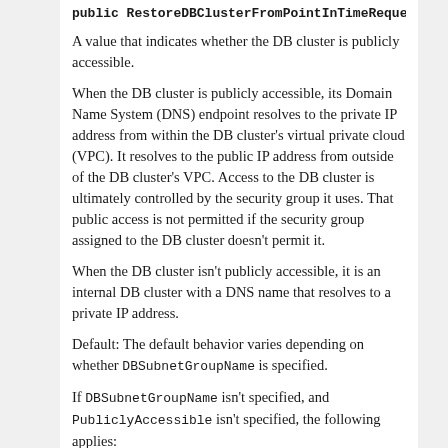public RestoreDBClusterFromPointInTimeRequest with
A value that indicates whether the DB cluster is publicly accessible.
When the DB cluster is publicly accessible, its Domain Name System (DNS) endpoint resolves to the private IP address from within the DB cluster's virtual private cloud (VPC). It resolves to the public IP address from outside of the DB cluster's VPC. Access to the DB cluster is ultimately controlled by the security group it uses. That public access is not permitted if the security group assigned to the DB cluster doesn't permit it.
When the DB cluster isn't publicly accessible, it is an internal DB cluster with a DNS name that resolves to a private IP address.
Default: The default behavior varies depending on whether DBSubnetGroupName is specified.
If DBSubnetGroupName isn't specified, and PubliclyAccessible isn't specified, the following applies:
If the default VPC in the target Region doesn't have an